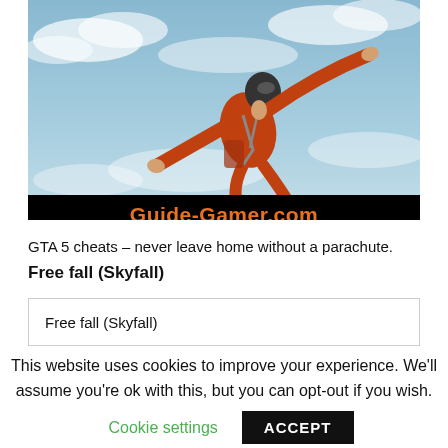[Figure (photo): A skydiver in a red jumpsuit and black helmet free-falling through a cloudy blue sky, arms outstretched. A 'Guide-Gamer.com' banner in orange text on black background overlays the bottom of the image.]
GTA 5 cheats – never leave home without a parachute.
Free fall (Skyfall)
| Free fall (Skyfall) |
This website uses cookies to improve your experience. We'll assume you're ok with this, but you can opt-out if you wish.
Cookie settings   ACCEPT